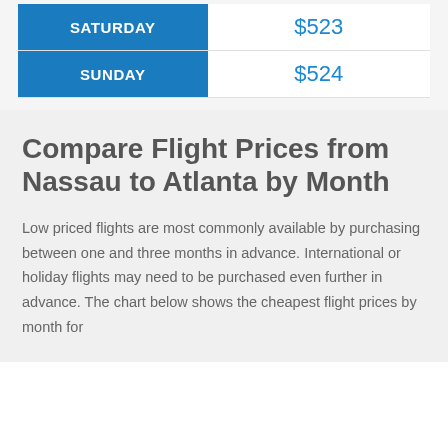| Day | Price |
| --- | --- |
| SATURDAY | $523 |
| SUNDAY | $524 |
Compare Flight Prices from Nassau to Atlanta by Month
Low priced flights are most commonly available by purchasing between one and three months in advance. International or holiday flights may need to be purchased even further in advance. The chart below shows the cheapest flight prices by month for